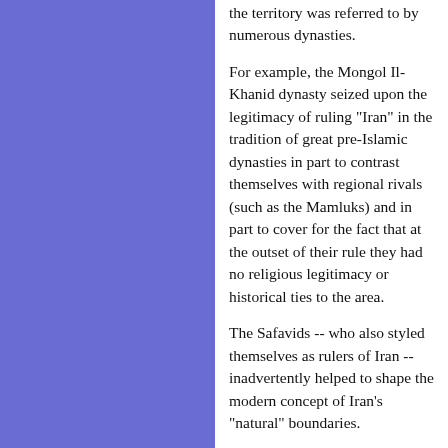the territory was referred to by numerous dynasties.
For example, the Mongol Il-Khanid dynasty seized upon the legitimacy of ruling "Iran" in the tradition of great pre-Islamic dynasties in part to contrast themselves with regional rivals (such as the Mamluks) and in part to cover for the fact that at the outset of their rule they had no religious legitimacy or historical ties to the area.
The Safavids -- who also styled themselves as rulers of Iran -- inadvertently helped to shape the modern concept of Iran's "natural" boundaries.
Much of Qajar foreign policy in the 19th century was based upon regaining Safavid territories lost in the 18th century. These efforts coincided with (and influenced) the first articulations of Iranian nationalism.